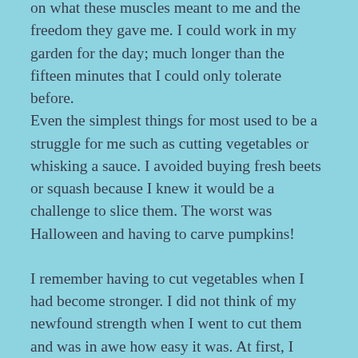on what these muscles meant to me and the freedom they gave me. I could work in my garden for the day; much longer than the fifteen minutes that I could only tolerate before.
Even the simplest things for most used to be a struggle for me such as cutting vegetables or whisking a sauce. I avoided buying fresh beets or squash because I knew it would be a challenge to slice them. The worst was Halloween and having to carve pumpkins!
I remember having to cut vegetables when I had become stronger. I did not think of my newfound strength when I went to cut them and was in awe how easy it was. At first, I thought, “why did I use to hate this?”, and then I realized I had become stronger.